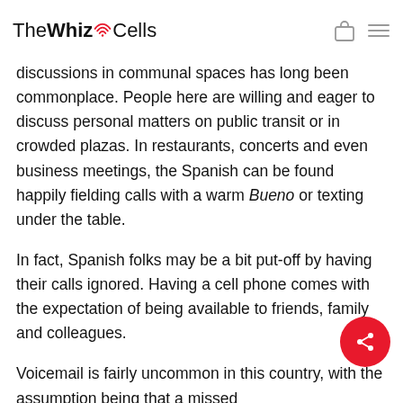The WhizCells
discussions in communal spaces has long been commonplace. People here are willing and eager to discuss personal matters on public transit or in crowded plazas. In restaurants, concerts and even business meetings, the Spanish can be found happily fielding calls with a warm Bueno or texting under the table.
In fact, Spanish folks may be a bit put-off by having their calls ignored. Having a cell phone comes with the expectation of being available to friends, family and colleagues.
Voicemail is fairly uncommon in this country, with the assumption being that a missed